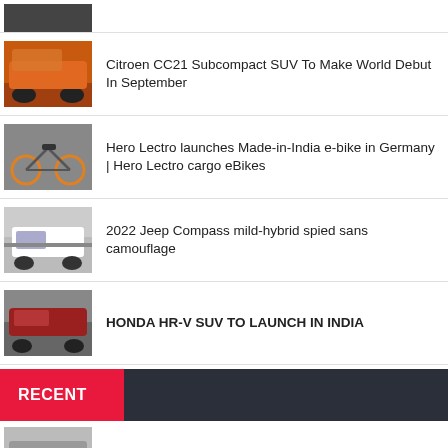[Figure (photo): Partial car image at top, cut off]
Citroen CC21 Subcompact SUV To Make World Debut In September
Hero Lectro launches Made-in-India e-bike in Germany | Hero Lectro cargo eBikes
2022 Jeep Compass mild-hybrid spied sans camouflage
HONDA HR-V SUV TO LAUNCH IN INDIA
RECENT
Maruti Suzuki Expects 60% Drop In September